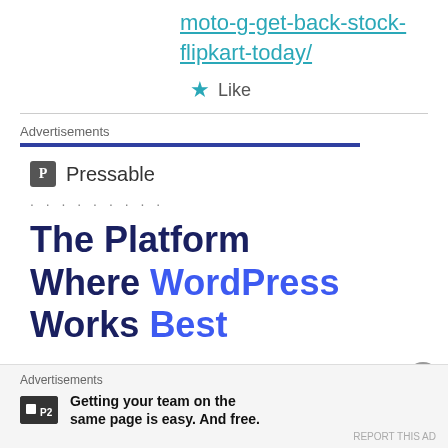moto-g-get-back-stock-flipkart-today/
★ Like
Advertisements
[Figure (logo): Pressable logo with P icon and name, followed by dots]
The Platform Where WordPress Works Best
Advertisements
[Figure (logo): P2 logo icon]
Getting your team on the same page is easy. And free.